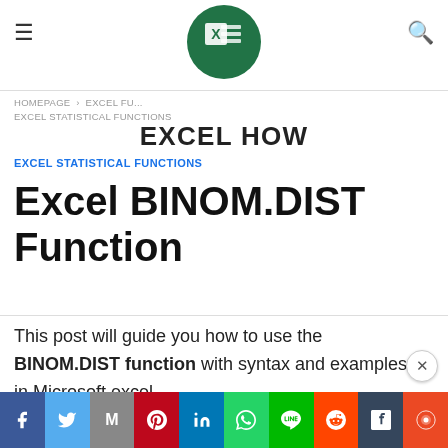EXCEL HOW — site header with hamburger menu, Excel logo, and search icon
HOMEPAGE > EXCEL FU... EXCEL STATISTICAL FUNCTIONS
EXCEL HOW
EXCEL STATISTICAL FUNCTIONS
Excel BINOM.DIST Function
This post will guide you how to use the BINOM.DIST function with syntax and examples in Microsoft excel.
Social share bar: Facebook, Twitter, Gmail, Pinterest, LinkedIn, WhatsApp, LINE, Reddit, Tumblr, StumbleUpon